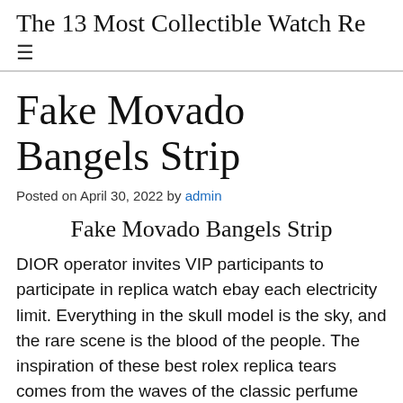The 13 Most Collectible Watch Re
Fake Movado Bangels Strip
Posted on April 30, 2022 by admin
Fake Movado Bangels Strip
DIOR operator invites VIP participants to participate in replica watch ebay each electricity limit. Everything in the skull model is the sky, and the rare scene is the blood of the people. The inspiration of these best rolex replica tears comes from the waves of the classic perfume bottle, the top of the top of Paris's Game Table. The unique design of the clock isimple and simple, the original fund continuos and